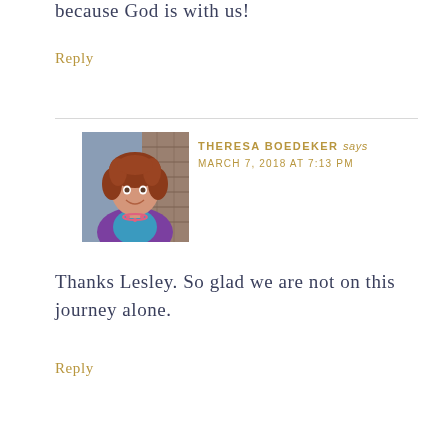because God is with us!
Reply
[Figure (photo): Profile photo of Theresa Boedeker, a woman with curly reddish-brown hair, wearing a purple jacket and blue top with a pink necklace, photographed outdoors near a brick wall.]
THERESA BOEDEKER says
MARCH 7, 2018 AT 7:13 PM
Thanks Lesley. So glad we are not on this journey alone.
Reply